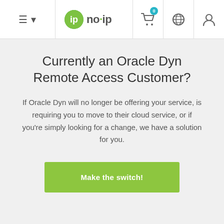no-ip navigation bar with hamburger menu, logo, cart (0), globe, and user icons
Currently an Oracle Dyn Remote Access Customer?
If Oracle Dyn will no longer be offering your service, is requiring you to move to their cloud service, or if you're simply looking for a change, we have a solution for you.
Make the switch!